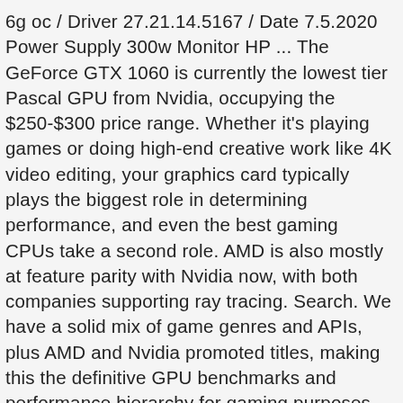6g oc / Driver 27.21.14.5167 / Date 7.5.2020 Power Supply 300w Monitor HP ... The GeForce GTX 1060 is currently the lowest tier Pascal GPU from Nvidia, occupying the $250-$300 price range. Whether it's playing games or doing high-end creative work like 4K video editing, your graphics card typically plays the biggest role in determining performance, and even the best gaming CPUs take a second role. AMD is also mostly at feature parity with Nvidia now, with both companies supporting ray tracing. Search. We have a solid mix of game genres and APIs, plus AMD and Nvidia promoted titles, making this the definitive GPU benchmarks and performance hierarchy for gaming purposes. Is it still worth buying if I am aiming to stay below 200€ (2nd hand most likely) or should I aim for a newer GPU when upgrading my PC? Benchmarks Indicate that GeForce GTX 1060 offers Performance around the Level of GeForce GTX 980. Generationally, this is the ... See the best Graphics Cards ranked by performance. Precision T1650 with an Intel Xeon E3-1270 V2 processor. How well can you run League of Legends on a GTX